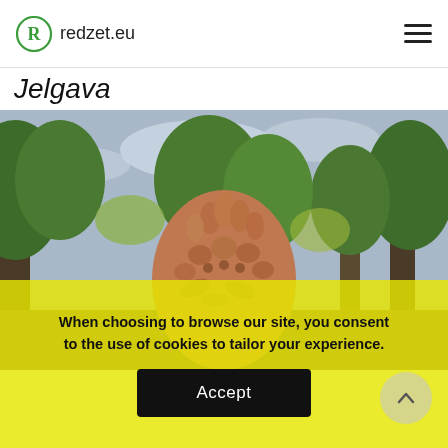redzet.eu
Jelgava
[Figure (photo): A terracotta or clay sculpture with floral and botanical relief patterns (tulips, leaves, petals), shown against a background of tall trees with green and yellowing foliage under a cloudy sky.]
When choosing to browse our site, you consent to the use of cookies to tailor your experience.
Accept